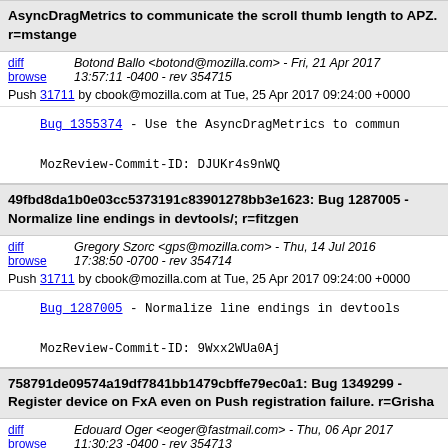AsyncDragMetrics to communicate the scroll thumb length to APZ. r=mstange
diff browse | Botond Ballo <botond@mozilla.com> - Fri, 21 Apr 2017 13:57:11 -0400 - rev 354715
Push 31711 by cbook@mozilla.com at Tue, 25 Apr 2017 09:24:00 +0000
Bug 1355374 - Use the AsyncDragMetrics to commun...
MozReview-Commit-ID: DJUKr4s9nWQ
49fbd8da1b0e03cc5373191c83901278bb3e1623: Bug 1287005 - Normalize line endings in devtools/; r=fitzgen
diff browse | Gregory Szorc <gps@mozilla.com> - Thu, 14 Jul 2016 17:38:50 -0700 - rev 354714
Push 31711 by cbook@mozilla.com at Tue, 25 Apr 2017 09:24:00 +0000
Bug 1287005 - Normalize line endings in devtools...
MozReview-Commit-ID: 9Wxx2WUa0Aj
758791de09574a19df7841bb1479cbffe79ec0a1: Bug 1349299 - Register device on FxA even on Push registration failure. r=Grisha
diff browse | Edouard Oger <eoger@fastmail.com> - Thu, 06 Apr 2017 11:30:23 -0400 - rev 354713
Push 31711 by cbook@mozilla.com at Tue, 25 Apr 2017 09:24:00 +0000
Bug 1349299 - Register device on FxA even on Pu...